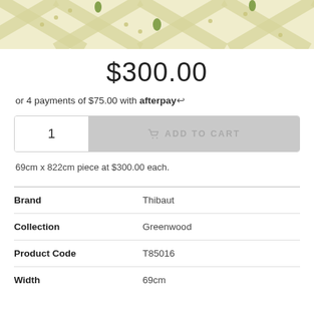[Figure (photo): Partial view of decorative wallpaper with cream/ivory background featuring diamond lattice pattern with green leaf/floral motifs]
$300.00
or 4 payments of $75.00 with afterpay
1   ADD TO CART
69cm x 822cm piece at $300.00 each.
| Brand | Thibaut |
| Collection | Greenwood |
| Product Code | T85016 |
| Width | 69cm |